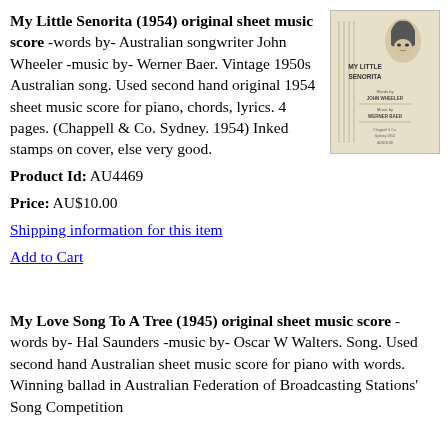My Little Senorita (1954) original sheet music score -words by- Australian songwriter John Wheeler -music by- Werner Baer. Vintage 1950s Australian song. Used second hand original 1954 sheet music score for piano, chords, lyrics. 4 pages. (Chappell & Co. Sydney. 1954) Inked stamps on cover, else very good.
Product Id: AU4469
Price: AU$10.00
[Figure (photo): Cover of sheet music for 'My Little Senorita' — beige/tan cover with decorative illustration and text showing title and Werner Baer as composer]
Shipping information for this item
Add to Cart
My Love Song To A Tree (1945) original sheet music score -words by- Hal Saunders -music by- Oscar W Walters. Song. Used second hand Australian sheet music score for piano with words. Winning ballad in Australian Federation of Broadcasting Stations' Song Competition